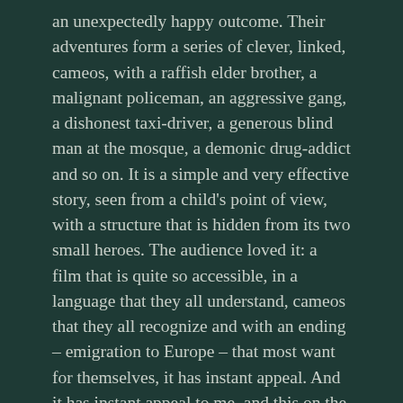an unexpectedly happy outcome. Their adventures form a series of clever, linked, cameos, with a raffish elder brother, a malignant policeman, an aggressive gang, a dishonest taxi-driver, a generous blind man at the mosque, a demonic drug-addict and so on. It is a simple and very effective story, seen from a child's point of view, with a structure that is hidden from its two small heroes. The audience loved it: a film that is quite so accessible, in a language that they all understand, cameos that they all recognize and with an ending – emigration to Europe – that most want for themselves, it has instant appeal. And it has instant appeal to me, and this on the second time of watching.
Nessim has given the film a number of showings in London aimed at raising funds for the boys' –